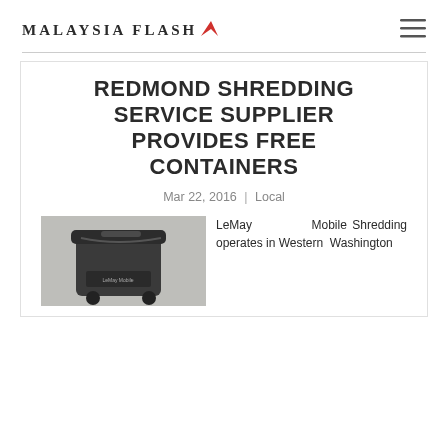Malaysia Flash
REDMOND SHREDDING SERVICE SUPPLIER PROVIDES FREE CONTAINERS
Mar 22, 2016 | Local
[Figure (photo): A dark grey/black wheeled trash bin or container with a lid, LeMay Mobile branded]
LeMay Mobile Shredding operates in Western Washington